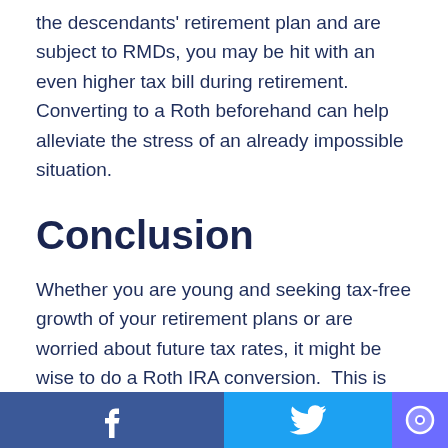the descendants' retirement plan and are subject to RMDs, you may be hit with an even higher tax bill during retirement.  Converting to a Roth beforehand can help alleviate the stress of an already impossible situation.
Conclusion
Whether you are young and seeking tax-free growth of your retirement plans or are worried about future tax rates, it might be wise to do a Roth IRA conversion.  This is not a one-size-fits-all situation since everyone is unique.  It's always best to con...
Facebook | Twitter | Chat